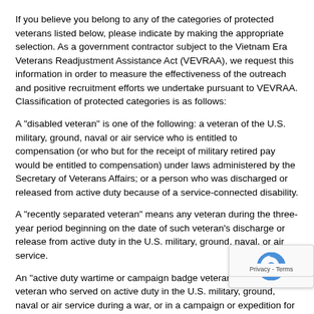If you believe you belong to any of the categories of protected veterans listed below, please indicate by making the appropriate selection. As a government contractor subject to the Vietnam Era Veterans Readjustment Assistance Act (VEVRAA), we request this information in order to measure the effectiveness of the outreach and positive recruitment efforts we undertake pursuant to VEVRAA. Classification of protected categories is as follows:
A "disabled veteran" is one of the following: a veteran of the U.S. military, ground, naval or air service who is entitled to compensation (or who but for the receipt of military retired pay would be entitled to compensation) under laws administered by the Secretary of Veterans Affairs; or a person who was discharged or released from active duty because of a service-connected disability.
A "recently separated veteran" means any veteran during the three-year period beginning on the date of such veteran's discharge or release from active duty in the U.S. military, ground, naval, or air service.
An "active duty wartime or campaign badge veteran" means a veteran who served on active duty in the U.S. military, ground, naval or air service during a war, or in a campaign or expedition for which a campaign badge has been authorized under the laws administered by the Department of Defense.
An "Armed forces service medal veteran" means a veteran who, while serving on active duty in the U.S. military, ground,